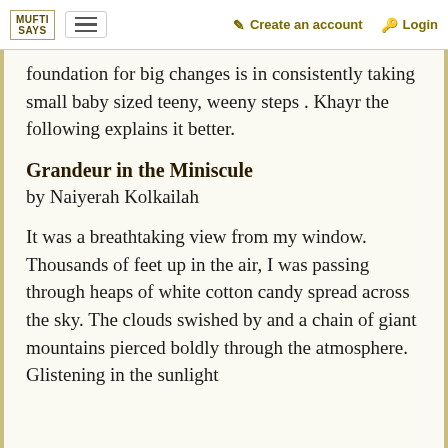MUFTI SAYS | Create an account | Login
foundation for big changes is in consistently taking small baby sized teeny, weeny steps . Khayr the following explains it better.
Grandeur in the Miniscule
by Naiyerah Kolkailah
It was a breathtaking view from my window. Thousands of feet up in the air, I was passing through heaps of white cotton candy spread across the sky. The clouds swished by and a chain of giant mountains pierced boldly through the atmosphere. Glistening in the sunlight